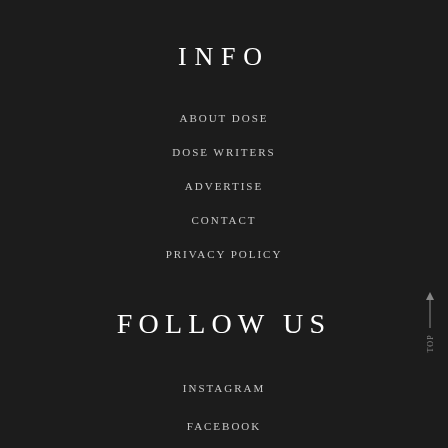INFO
ABOUT DOSE
DOSE WRITERS
ADVERTISE
CONTACT
PRIVACY POLICY
FOLLOW US
INSTAGRAM
FACEBOOK